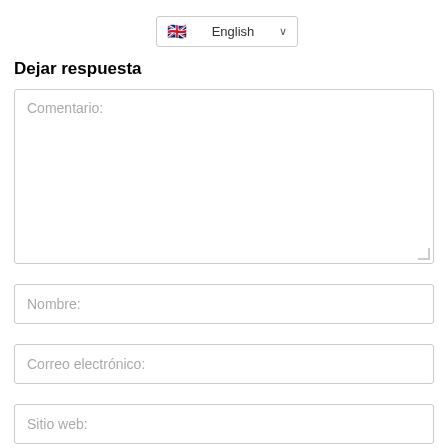[Figure (screenshot): Language selector dropdown showing UK flag and 'English' text with dropdown arrow]
Dejar respuesta
Comentario:
Nombre:
Correo electrónico:
Sitio web:
Guarda mi nombre, correo electrónico y web en este navegador